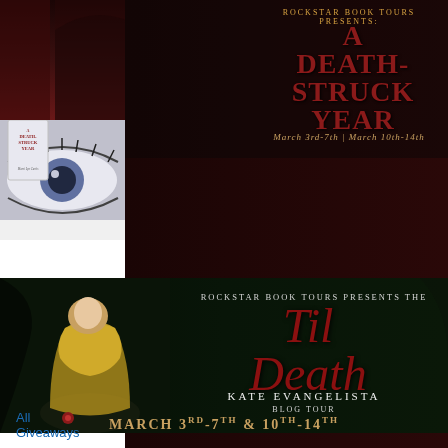[Figure (infographic): Top banner: dark red/maroon background with Night Assassin book cover on right, text 'March 3rd-7th and 10th-14th' in center]
[Figure (infographic): Middle banner: Rockstar Book Tours Presents: A Death-Struck Year promotional image with close-up eyes and book cover on left. Dates: March 3rd-7th | March 10th-14th]
[Figure (infographic): Bottom banner: dark green background, girl in yellow dress on left, text: Rockstar Book Tours Presents the 'Til Death' Kate Evangelista Blog Tour, March 3rd-7th & 10th-14th]
All Giveaways